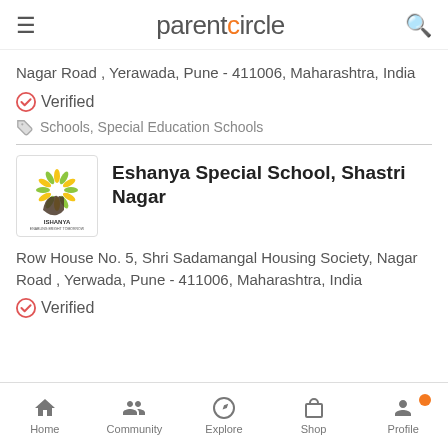parentcircle
Nagar Road , Yerawada, Pune - 411006, Maharashtra, India
Verified
Schools, Special Education Schools
Eshanya Special School, Shastri Nagar
Row House No. 5, Shri Sadamangal Housing Society, Nagar Road , Yerwada, Pune - 411006, Maharashtra, India
Verified
Home  Community  Explore  Shop  Profile